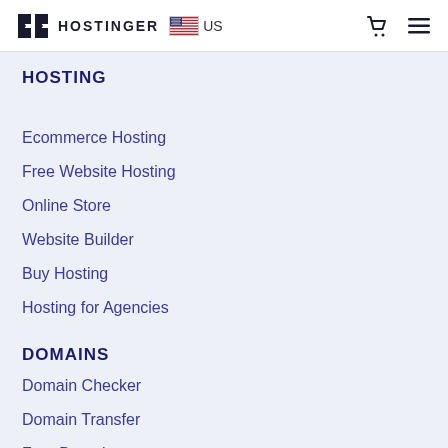HOSTINGER US
HOSTING
Ecommerce Hosting
Free Website Hosting
Online Store
Website Builder
Buy Hosting
Hosting for Agencies
DOMAINS
Domain Checker
Domain Transfer
Free Domain